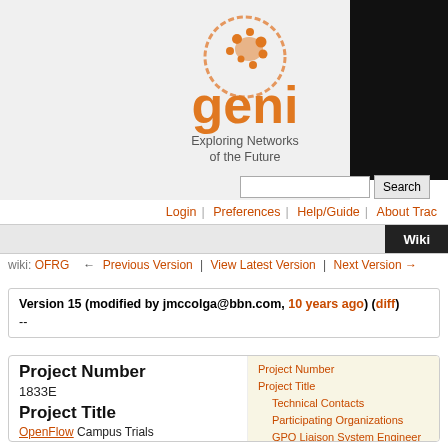[Figure (logo): GENI logo with orange globe/footprints icon and text 'geni Exploring Networks of the Future']
Login | Preferences | Help/Guide | About Trac
Wiki
wiki: OFRG  ← Previous Version | View Latest Version | Next Version →
Version 15 (modified by jmccolga@bbn.com, 10 years ago) (diff)
--
Project Number
1833E
Project Title
OpenFlow Campus Trials at Princeton University
Project Number
Project Title
Technical Contacts
Participating Organizations
GPO Liaison System Engineer
Scope
Current Capabilities
Initial small deployment
Milestones
Spiral 4